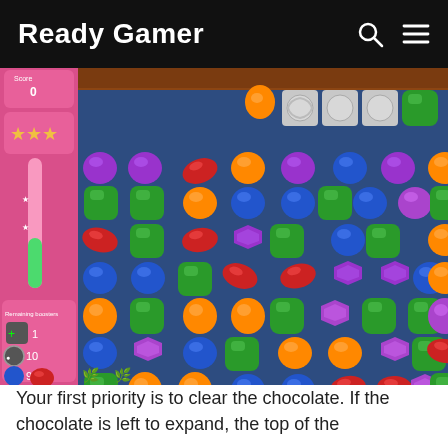Ready Gamer
[Figure (screenshot): Candy Crush Saga game screenshot showing a grid of colorful candies (purple, green, orange, red, blue) with chocolate blockers at the top, score counter, and remaining moves/boosters sidebar on the left.]
Your first priority is to clear the chocolate. If the chocolate is left to expand, the top of the